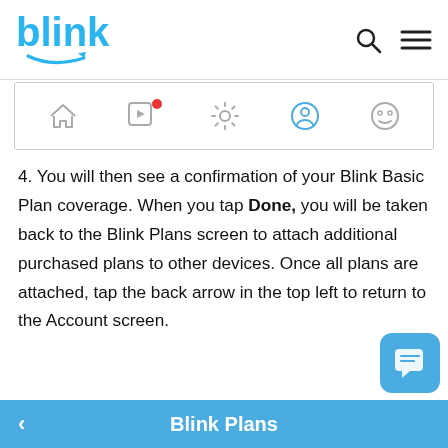blink
[Figure (screenshot): Blink app bottom navigation bar with home, video, settings, person, and camera icons]
4. You will then see a confirmation of your Blink Basic Plan coverage. When you tap Done, you will be taken back to the Blink Plans screen to attach additional purchased plans to other devices. Once all plans are attached, tap the back arrow in the top left to return to the Account screen.
[Figure (screenshot): Blink Plans screen bottom navigation bar showing back arrow and Blink Plans title]